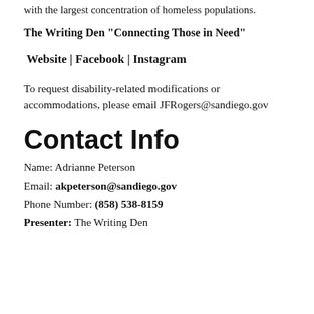with the largest concentration of homeless populations.
The Writing Den "Connecting Those in Need"
Website | Facebook | Instagram
To request disability-related modifications or accommodations, please email JFRogers@sandiego.gov
Contact Info
Name: Adrianne Peterson
Email: akpeterson@sandiego.gov
Phone Number: (858) 538-8159
Presenter: The Writing Den